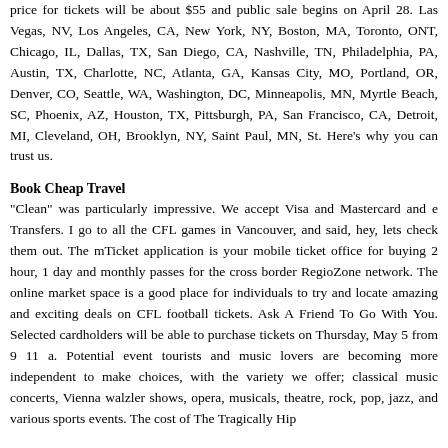price for tickets will be about $55 and public sale begins on April 28. Las Vegas, NV, Los Angeles, CA, New York, NY, Boston, MA, Toronto, ONT, Chicago, IL, Dallas, TX, San Diego, CA, Nashville, TN, Philadelphia, PA, Austin, TX, Charlotte, NC, Atlanta, GA, Kansas City, MO, Portland, OR, Denver, CO, Seattle, WA, Washington, DC, Minneapolis, MN, Myrtle Beach, SC, Phoenix, AZ, Houston, TX, Pittsburgh, PA, San Francisco, CA, Detroit, MI, Cleveland, OH, Brooklyn, NY, Saint Paul, MN, St. Here's why you can trust us.
Book Cheap Travel
"Clean" was particularly impressive. We accept Visa and Mastercard and e Transfers. I go to all the CFL games in Vancouver, and said, hey, lets check them out. The mTicket application is your mobile ticket office for buying 2 hour, 1 day and monthly passes for the cross border RegioZone network. The online market space is a good place for individuals to try and locate amazing and exciting deals on CFL football tickets. Ask A Friend To Go With You. Selected cardholders will be able to purchase tickets on Thursday, May 5 from 9 11 a. Potential event tourists and music lovers are becoming more independent to make choices, with the variety we offer; classical music concerts, Vienna walzler shows, opera, musicals, theatre, rock, pop, jazz, and various sports events. The cost of The Tragically Hip